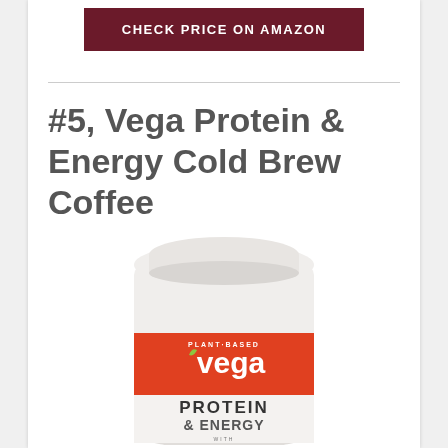[Figure (other): Dark red button with white uppercase text 'CHECK PRICE ON AMAZON']
#5, Vega Protein & Energy Cold Brew Coffee
[Figure (photo): White tub of Vega Protein & Energy supplement with red label showing plant-based Vega branding and '3g MCT OIL' text]